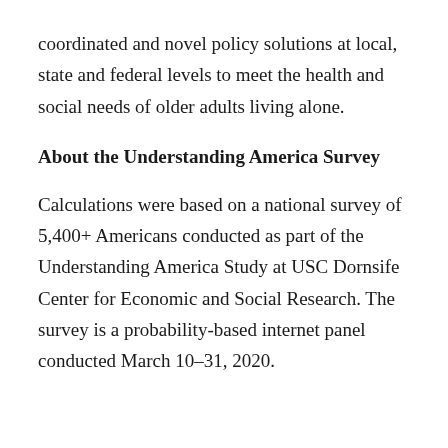coordinated and novel policy solutions at local, state and federal levels to meet the health and social needs of older adults living alone.
About the Understanding America Survey
Calculations were based on a national survey of 5,400+ Americans conducted as part of the Understanding America Study at USC Dornsife Center for Economic and Social Research. The survey is a probability-based internet panel conducted March 10–31, 2020.